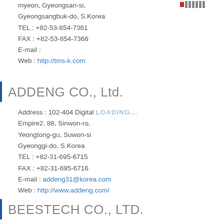myeon, Gyeongsan-si,
Gyeongsangbuk-do, S.Korea
TEL : +82-53-854-7361
FAX : +82-53-854-7366
E-mail :
Web : http://tms-k.com
ADDENG CO., Ltd.
Address : 102-404 Digital Empire2. 88, Sinwon-ro,
Yeongtong-gu, Suwon-si
Gyeonggi-do, S.Korea
TEL : +82-31-695-6715
FAX : +82-31-695-6716
E-mail : addeng31@korea.com
Web : http://www.addeng.com/
BEESTECH CO., LTD.